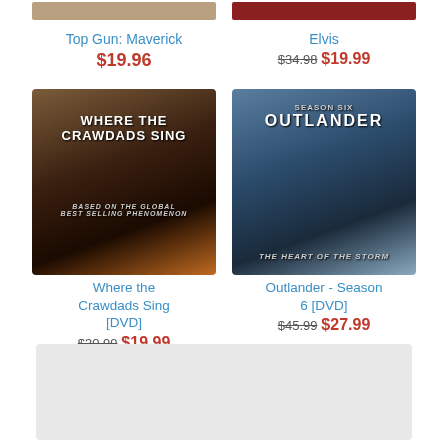[Figure (screenshot): Partial product image for Top Gun: Maverick DVD (top cropped)]
Top Gun: Maverick
$19.96
[Figure (screenshot): Partial product image for Elvis DVD (top cropped)]
Elvis
$34.98  $19.99
[Figure (photo): DVD cover for Where the Crawdads Sing showing a young woman with long dark hair against a dark background with title text]
Where the Crawdads Sing [DVD]
$30.99  $19.99
[Figure (photo): DVD cover for Outlander Season 6 showing two people in wintry scene with text THE HEART OF THE STORM]
Outlander - Season 6 [DVD]
$45.99  $27.99
[Figure (other): Light gray rectangular placeholder box at the bottom of the page]